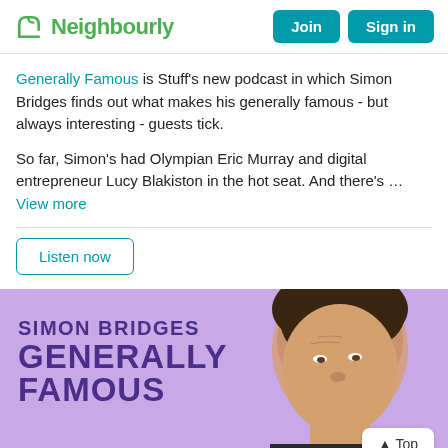Neighbourly — Join | Sign in
Generally Famous is Stuff's new podcast in which Simon Bridges finds out what makes his generally famous - but always interesting - guests tick.
So far, Simon's had Olympian Eric Murray and digital entrepreneur Lucy Blakiston in the hot seat. And there's … View more
Listen now
[Figure (photo): Podcast promotional banner with purple background showing Simon Bridges looking upward, with text 'SIMON BRIDGES GENERALLY FAMOUS' and a Top navigation button]